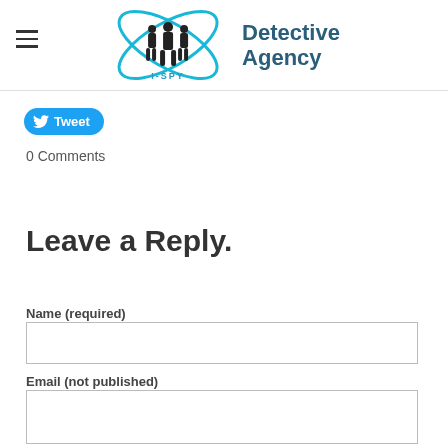[Figure (logo): I-SPY Detective Agency logo with silhouettes of people and blue X/atom orbit graphic, text reads 'I-SPY Detective Agency']
[Figure (other): Twitter Tweet button (blue rounded rectangle with bird icon and 'Tweet' text)]
0 Comments
Leave a Reply.
Name (required)
Email (not published)